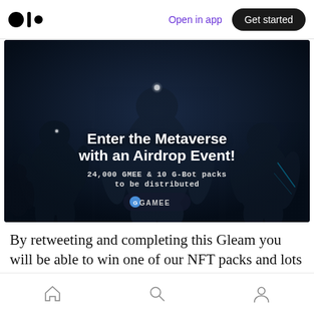Open in app | Get started
[Figure (illustration): Dark metaverse scene with robot/mech silhouettes, overlaid with text: 'Enter the Metaverse with an Airdrop Event! 24,000 GMEE & 10 G-Bot packs to be distributed' and GAMEE logo badge]
By retweeting and completing this Gleam you will be able to win one of our NFT packs and lots of GMEE tokens to kickstart your journey on our Play &...